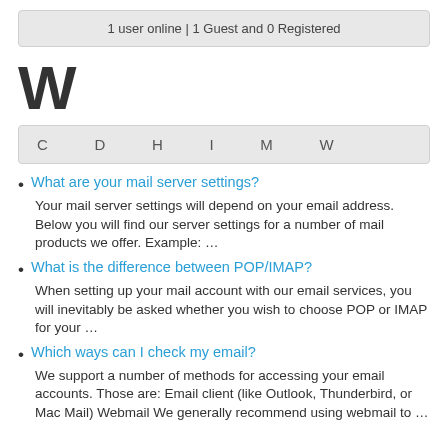1 user online | 1 Guest and 0 Registered
W
C  D  H  I  M  W
What are your mail server settings?
Your mail server settings will depend on your email address. Below you will find our server settings for a number of mail products we offer. Example: ...
What is the difference between POP/IMAP?
When setting up your mail account with our email services, you will inevitably be asked whether you wish to choose POP or IMAP for your ...
Which ways can I check my email?
We support a number of methods for accessing your email accounts. Those are: Email client (like Outlook, Thunderbird, or Mac Mail) Webmail We generally recommend using webmail to ...